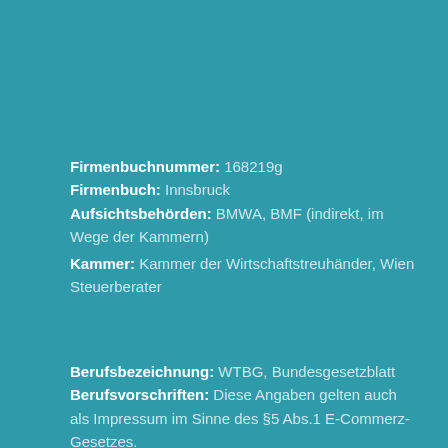Firmenbuchnummer: 168219g
Firmenbuch: Innsbruck
Aufsichtsbehörden: BMWA, BMF (indirekt, im Wege der Kammern)
Kammer: Kammer der Wirtschaftstreuhänder, Wien Steuerberater
Berufsbezeichnung: WTBG, Bundesgesetzblatt
Berufsvorschriften: Diese Angaben gelten auch als Impressum im Sinne des §5 Abs.1 E-Commerz-Gesetzes.